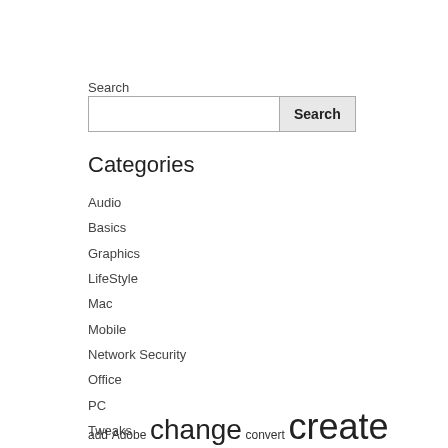Search
[Figure (screenshot): Search input box with a text field and a Search button]
Categories
Audio
Basics
Graphics
LifeStyle
Mac
Mobile
Network Security
Office
PC
Tweaks
Video
Web
add Adobe change convert create